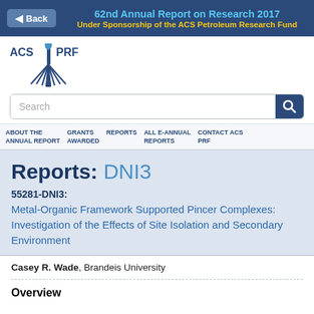62nd Annual Report on Research 2017 Under Sponsorship of the ACS Petroleum Research Fund
[Figure (logo): ACS PRF logo with flame and text ACS PRF]
Search
ABOUT THE ANNUAL REPORT   GRANTS AWARDED   REPORTS   ALL E-ANNUAL REPORTS   CONTACT ACS PRF
Reports: DNI3
55281-DNI3:
Metal-Organic Framework Supported Pincer Complexes: Investigation of the Effects of Site Isolation and Secondary Environment
Casey R. Wade, Brandeis University
Overview